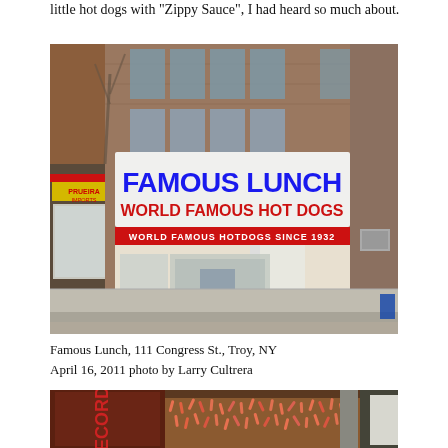little hot dogs with "Zippy Sauce", I had heard so much about.
[Figure (photo): Street-level photograph of Famous Lunch restaurant at 111 Congress St., Troy, NY. A large white sign reads 'FAMOUS LUNCH WORLD FAMOUS HOT DOGS' in bold blue and red lettering, with a red banner below reading 'WORLD FAMOUS HOTDOGS SINCE 1932'. Adjacent storefront to the left shows 'PRUEIRA IMPORTS'. Red brick building facade visible.]
Famous Lunch, 111 Congress St., Troy, NY
April 16, 2011 photo by Larry Cultrera
[Figure (photo): Close-up photograph of mini hot dogs/frankfurters in bulk on what appears to be a grill or tray surface, with packaging boxes visible on the left side.]